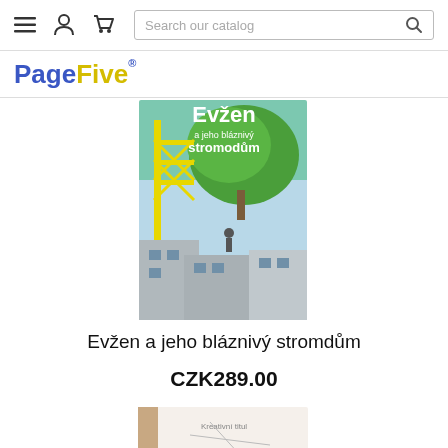PageFive — navigation bar with menu, account, cart icons and search box
[Figure (illustration): Book cover of 'Evžen a jeho bláznivý stromdům' showing a construction crane, a large green tree, and a figure on a rooftop with cityscape]
Evžen a jeho bláznivý stromdům
CZK289.00
[Figure (illustration): Partial view of a second book cover, light beige/white colors, partially cropped at bottom of page]